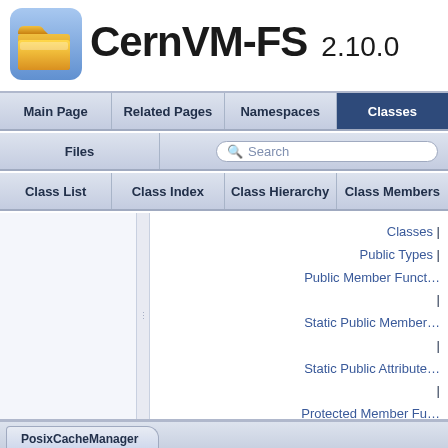[Figure (logo): CernVM-FS folder logo icon — yellow folder on blue rounded square background]
CernVM-FS 2.10.0
Main Page | Related Pages | Namespaces | Classes
Files | Search
Class List | Class Index | Class Hierarchy | Class Members
Classes | Public Types | Public Member Functions | Static Public Members | Static Public Attributes | Protected Member Functions |
PosixCacheManager